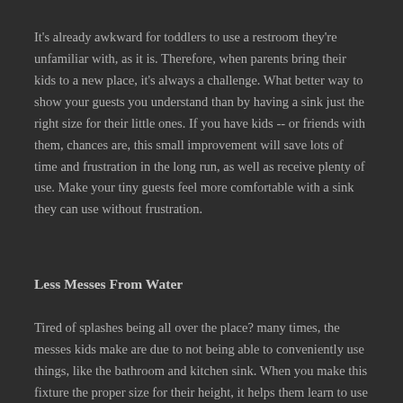It's already awkward for toddlers to use a restroom they're unfamiliar with, as it is. Therefore, when parents bring their kids to a new place, it's always a challenge. What better way to show your guests you understand than by having a sink just the right size for their little ones. If you have kids -- or friends with them, chances are, this small improvement will save lots of time and frustration in the long run, as well as receive plenty of use. Make your tiny guests feel more comfortable with a sink they can use without frustration.
Less Messes From Water
Tired of splashes being all over the place? many times, the messes kids make are due to not being able to conveniently use things, like the bathroom and kitchen sink. When you make this fixture the proper size for their height, it helps them learn to use it in a more ideal manner. It's much easier to use something that's